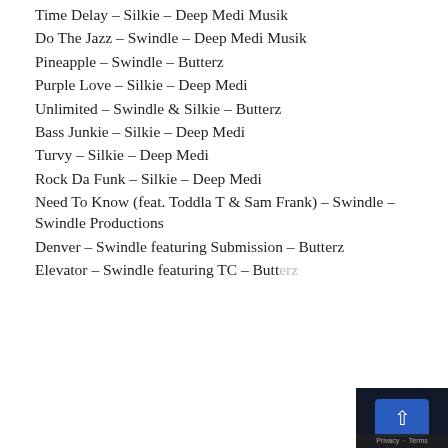Time Delay – Silkie – Deep Medi Musik
Do The Jazz – Swindle – Deep Medi Musik
Pineapple – Swindle – Butterz
Purple Love – Silkie – Deep Medi
Unlimited – Swindle & Silkie – Butterz
Bass Junkie – Silkie – Deep Medi
Turvy – Silkie – Deep Medi
Rock Da Funk – Silkie – Deep Medi
Need To Know (feat. Toddla T & Sam Frank) – Swindle – Swindle Productions
Denver – Swindle featuring Submission – Butterz
Elevator – Swindle featuring TC – Butterz